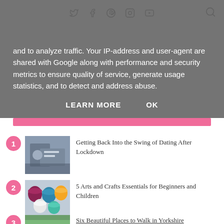Twitter Facebook Pinterest Instagram YouTube [Search]
and to analyze traffic. Your IP-address and user-agent are shared with Google along with performance and security metrics to ensure quality of service, generate usage statistics, and to detect and address abuse.
LEARN MORE   OK
1. Getting Back Into the Swing of Dating After Lockdown
2. 5 Arts and Crafts Essentials for Beginners and Children
3. Six Beautiful Places to Walk in Yorkshire